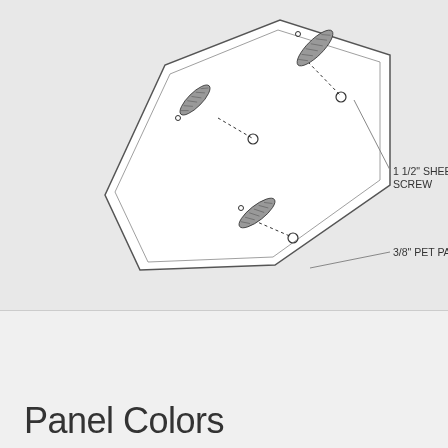[Figure (engineering-diagram): Technical diagram of a hexagonal PET panel shown at an angle, with two 1 1/2 inch sheetrock screws being installed. Dashed leader lines point from screw symbols (elongated oval shapes with hatching) to small circles indicating screw hole positions on the panel edges. Labels: '1 1/2" SHEETROCK SCREW' pointing to the upper-right screw, '3/8" PET PANEL' pointing to the bottom edge of the panel.]
Panel Colors